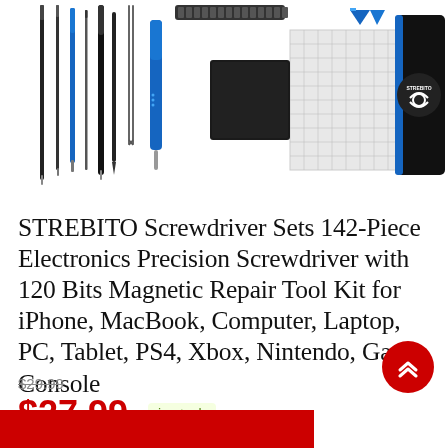[Figure (photo): Product photo showing STREBITO screwdriver set with multiple precision screwdrivers, bits, tweezers, a black cloth, a magnetic pad with grid pattern, and a black carrying case with the STREBITO logo in blue]
STREBITO Screwdriver Sets 142-Piece Electronics Precision Screwdriver with 120 Bits Magnetic Repair Tool Kit for iPhone, MacBook, Computer, Laptop, PC, Tablet, PS4, Xbox, Nintendo, Game Console
$29.99 (strikethrough original price)
$27.99  in stock